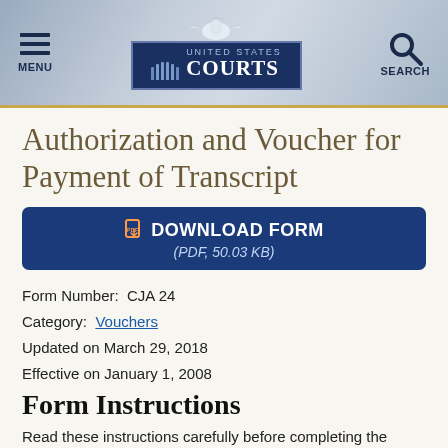United States Courts — MENU | SEARCH
Authorization and Voucher for Payment of Transcript
[Figure (other): Download Form button — PDF, 50.03 KB]
Form Number: CJA 24
Category: Vouchers
Updated on March 29, 2018
Effective on January 1, 2008
Form Instructions
Read these instructions carefully before completing the